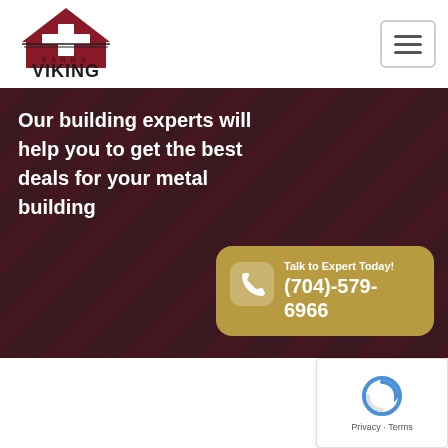[Figure (logo): Viking Barns logo: red barn icon above bold text 'VIKING' with 'BARNS' below in smaller spaced letters]
[Figure (other): Hamburger menu button (three horizontal lines in a rounded rectangle border)]
Our building experts will help you to get the best deals for your metal building
Talk to Expert Today! (704)-579-6966
[Figure (other): reCAPTCHA widget with spinning arrow logo and 'Privacy · Terms' text]